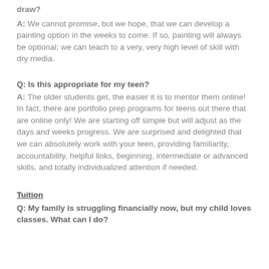draw?
A: We cannot promise, but we hope, that we can develop a painting option in the weeks to come. If so, painting will always be optional; we can teach to a very, very high level of skill with dry media.
Q: Is this appropriate for my teen?
A: The older students get, the easier it is to mentor them online! In fact, there are portfolio prep programs for teens out there that are online only! We are starting off simple but will adjust as the days and weeks progress. We are surprised and delighted that we can absolutely work with your teen, providing familiarity, accountability, helpful links, beginning, intermediate or advanced skills, and totally individualized attention if needed.
Tuition
Q: My family is struggling financially now, but my child loves classes. What can I do?